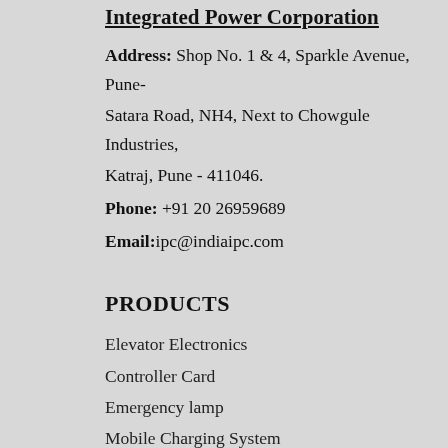Integrated Power Corporation
Address: Shop No. 1 & 4, Sparkle Avenue, Pune-Satara Road, NH4, Next to Chowgule Industries, Katraj, Pune - 411046.
Phone: +91 20 26959689
Email: ipc@indiaipc.com
PRODUCTS
Elevator Electronics
Controller Card
Emergency lamp
Mobile Charging System
Solar Lighting System
Voltage Stabilizer
Interfacing Boards
Electronics Product as per Customer Requirement